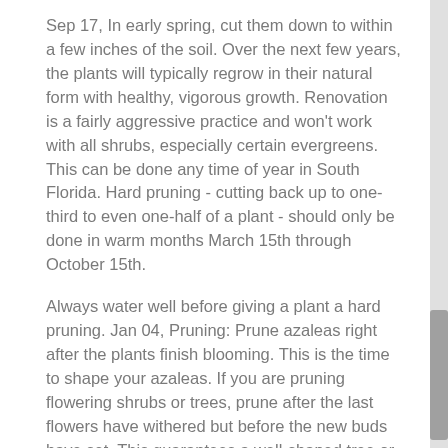Sep 17, In early spring, cut them down to within a few inches of the soil. Over the next few years, the plants will typically regrow in their natural form with healthy, vigorous growth. Renovation is a fairly aggressive practice and won't work with all shrubs, especially certain evergreens. This can be done any time of year in South Florida. Hard pruning - cutting back up to one-third to even one-half of a plant - should only be done in warm months March 15th through October 15th.
Always water well before giving a plant a hard pruning. Jan 04, Pruning: Prune azaleas right after the plants finish blooming. This is the time to shape your azaleas. If you are pruning flowering shrubs or trees, prune after the last flowers have withered but before the new buds have set. This guarantees a well-shaped tree or shrub and keeps you from removing the buds for next year's shrubdisposal.barted Reading Time: 8 mins.
Jan 24, Time of year (when to prune) The best time to prune live branches may depend on the desired results. Growth is maximized and defects are easier to see on deciduous trees final cut tree solutions live-branch pruning is done just before growth